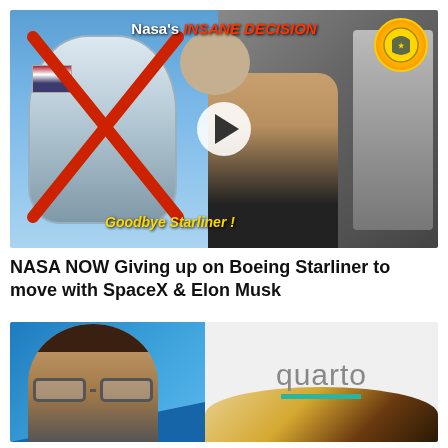[Figure (screenshot): Video thumbnail showing Boeing Starliner capsule crossed out in red X on left, Elon Musk on right with a play button in center, text overlay 'Nasa's INSANE DECISION' at top and 'Goodbye Starliner!' at bottom, badge/logo in top right corner]
NASA NOW Giving up on Boeing Starliner to move with SpaceX & Elon Musk
[Figure (screenshot): Partial thumbnail showing a man with glasses on blue background on left half, and 'quarto' logo text with teal underbar on white/gray background on right half, with banana-shaped objects at bottom]